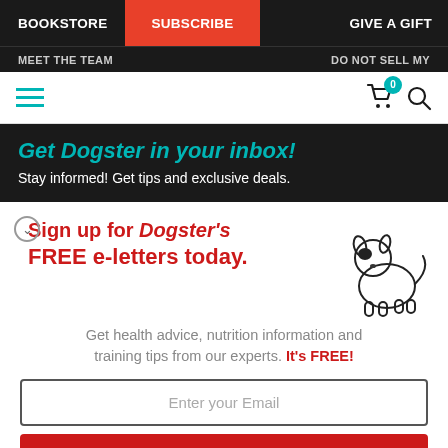BOOKSTORE | SUBSCRIBE | GIVE A GIFT
MEET THE TEAM | DO NOT SELL MY
Get Dogster in your inbox! Stay informed! Get tips and exclusive deals.
Sign up for Dogster's FREE e-letters today.
Get health advice, nutrition information and training tips from our experts. It's FREE!
Enter your Email
YES! SIGN ME UP